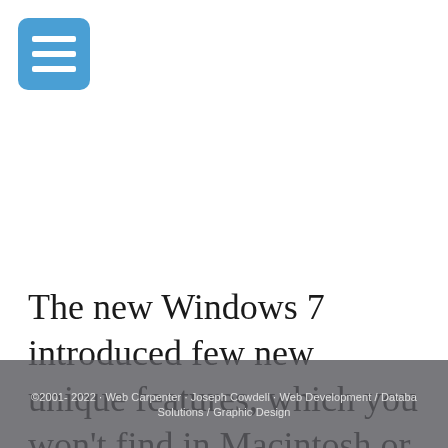[Figure (other): Blue rounded square hamburger menu icon with three white horizontal bars]
The new Windows 7 introduced few new unique features, which you won't find in Macintosh or Linux. Aero Snap is a new feature that allows you to drag your window onto the edge and the whole window will auto resize. For
©2001- 2022 · Web Carpenter · Joseph Cowdell · Web Development / Database Solutions / Graphic Design